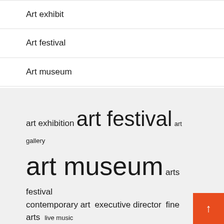Art exhibit
Art festival
Art museum
art exhibition  art festival  art gallery  art museum  arts festival  contemporary art  executive director  fine arts  live music  local artists  museum art  open public  press release  united states  works art
Recent Posts